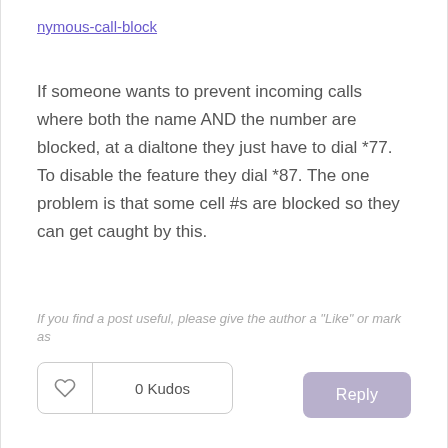nymous-call-block
If someone wants to prevent incoming calls where both the name AND the number are blocked, at a dialtone they just have to dial *77. To disable the feature they dial *87. The one problem is that some cell #s are blocked so they can get caught by this.
If you find a post useful, please give the author a "Like" or mark as